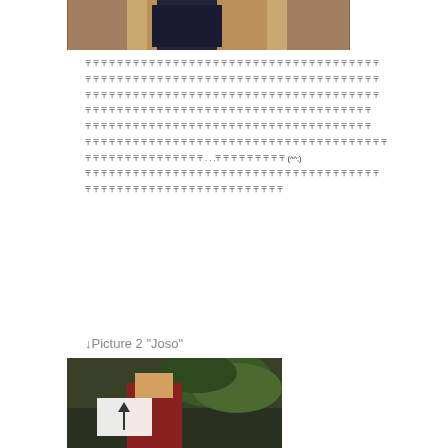[Figure (photo): Top portion of a photo showing a person in dark clothing in front of wooden furniture]
[unreadable Japanese/CJK text across multiple lines, ending with (^^;)]
↓Picture 2 "Joso"
[Figure (photo): Photo of a person in costume outdoors with trees in background, with an upward arrow overlay icon]